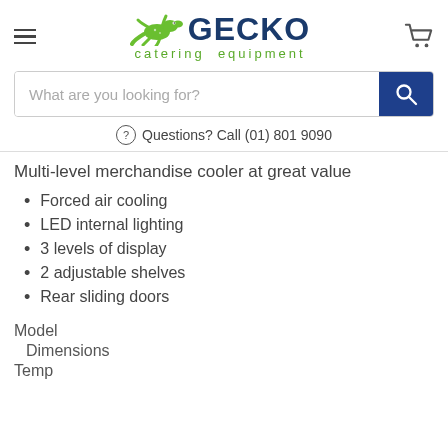[Figure (logo): Gecko Catering Equipment logo with green gecko lizard graphic and blue GECKO text, green 'catering equipment' subtext]
[Figure (other): Search bar with placeholder 'What are you looking for?' and blue search button with magnifying glass icon]
Questions? Call (01) 801 9090
Multi-level merchandise cooler at great value
Forced air cooling
LED internal lighting
3 levels of display
2 adjustable shelves
Rear sliding doors
Model
Dimensions
Temp